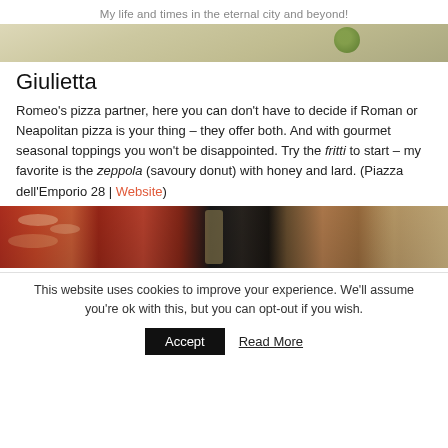My life and times in the eternal city and beyond!
[Figure (photo): Top portion of a food/restaurant photo, partially cropped, showing light-colored surface with a green circular element (possibly herb garnish)]
Giulietta
Romeo's pizza partner, here you can don't have to decide if Roman or Neapolitan pizza is your thing – they offer both. And with gourmet seasonal toppings you won't be disappointed. Try the fritti to start – my favorite is the zeppola (savoury donut) with honey and lard. (Piazza dell'Emporio 28 | Website)
[Figure (photo): Photo of pizzas and drinks on a table — a red-sauced pizza on the left, a dark rectangular pan/tray in the middle, a glass of beer, and a partially visible pizza on the right]
This website uses cookies to improve your experience. We'll assume you're ok with this, but you can opt-out if you wish.
Accept   Read More